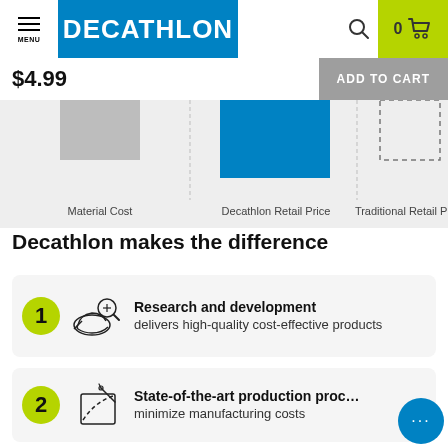[Figure (logo): Decathlon website header with menu icon, Decathlon blue logo, search icon, and cart with yellow-green background showing 0 items]
$4.99
ADD TO CART
[Figure (bar-chart): Partial bar chart showing Material Cost, Decathlon Retail Price (blue bar), and Traditional Retail Price columns on light gray background]
Decathlon makes the difference
1 Research and development delivers high-quality cost-effective products
2 State-of-the-art production proc… minimize manufacturing costs